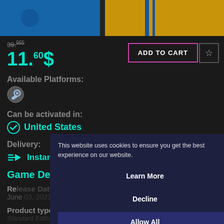[Figure (screenshot): Top banner image showing a game screenshot with blue and yellow colors]
39.965 (strikethrough original price)
11.60$
ADD TO CART
Available Platforms:
[Figure (logo): Steam platform logo icon]
Can be activated in:
✓ United States
Delivery:
Instant Delivery
This website uses cookies to ensure you get the best experience on our website.
Learn More
Decline
Allow All
Game Details
Re[lease Date]:
June 03, 2021
Product type: